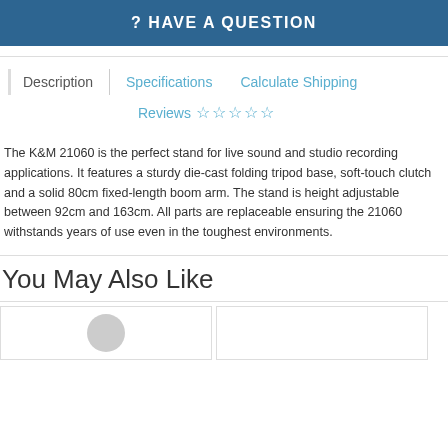? HAVE A QUESTION
Description | Specifications | Calculate Shipping
Reviews ☆ ☆ ☆ ☆ ☆
The K&M 21060 is the perfect stand for live sound and studio recording applications. It features a sturdy die-cast folding tripod base, soft-touch clutch and a solid 80cm fixed-length boom arm. The stand is height adjustable between 92cm and 163cm. All parts are replaceable ensuring the 21060 withstands years of use even in the toughest environments.
You May Also Like